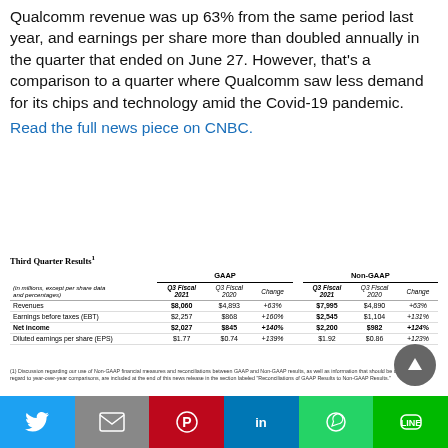Qualcomm revenue was up 63% from the same period last year, and earnings per share more than doubled annually in the quarter that ended on June 27. However, that's a comparison to a quarter where Qualcomm saw less demand for its chips and technology amid the Covid-19 pandemic.
Read the full news piece on CNBC.
| (in millions, except per share data and percentages) | Q3 Fiscal 2021 | Q3 Fiscal 2020 | Change | Q3 Fiscal 2021 | Q3 Fiscal 2020 | Change |
| --- | --- | --- | --- | --- | --- | --- |
| Revenues | $8,060 | $4,893 | +63% | $7,995 | $4,890 | +63% |
| Earnings before taxes (EBT) | $2,257 | $868 | +160% | $2,545 | $1,104 | +131% |
| Net income | $2,027 | $845 | +140% | $2,200 | $982 | +124% |
| Diluted earnings per share (EPS) | $1.77 | $0.74 | +139% | $1.92 | $0.86 | +123% |
(1) Discussion regarding our use of Non-GAAP financial measures and reconciliations between GAAP and Non-GAAP results, as well as information that should be considered in regard to year-over-year comparisons, are included at the end of this news release in the section labeled "Reconciliations of GAAP Results to Non-GAAP Results."
Twitter | Gmail | Pinterest | LinkedIn | WhatsApp | LINE